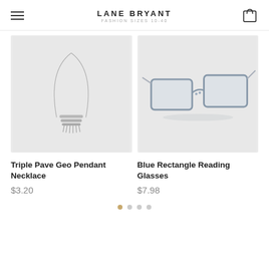LANE BRYANT — FASHION SIZES 10-40
[Figure (photo): Silver necklace with triple pave geo pendant on light gray background]
[Figure (photo): Blue rectangle reading glasses on light gray background]
Triple Pave Geo Pendant Necklace
$3.20
Blue Rectangle Reading Glasses
$7.98